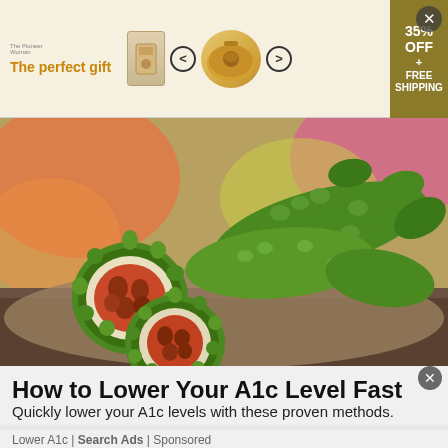[Figure (screenshot): Advertisement banner for The Pioneer Woman cookware: 'The perfect gift' with product images, navigation arrows, and '35% OFF + FREE SHIPPING' offer box]
[Figure (photo): Photograph of bitter melon (bitter gourd) vegetables, some cut open showing red seeds inside, arranged on burlap fabric with colorful bokeh background]
How to Lower Your A1c Level Fast
Quickly lower your A1c levels with these proven methods.
Lower A1c | Search Ads | Sponsored
[Figure (photo): Partial photograph showing close-up of skin/face (second advertisement)]
[Figure (screenshot): Bottom advertisement banner for The Pioneer Woman cookware: 'The perfect gift' with product images, navigation arrows, and '35% OFF + FREE SHIPPING' offer box]